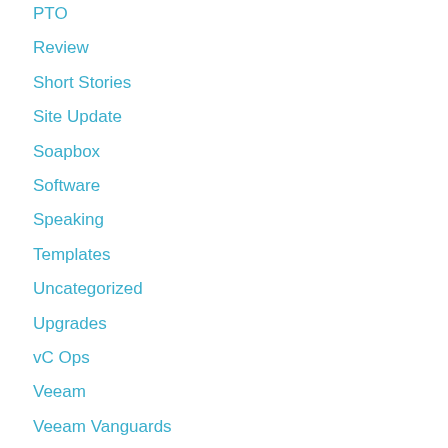PTO
Review
Short Stories
Site Update
Soapbox
Software
Speaking
Templates
Uncategorized
Upgrades
vC Ops
Veeam
Veeam Vanguards
vExpert